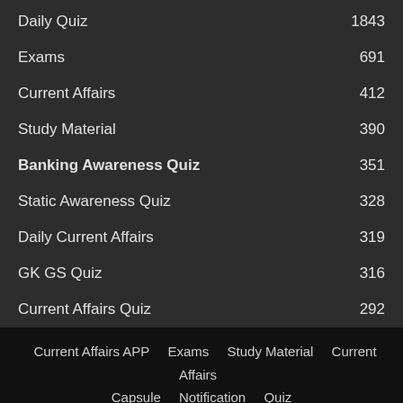Daily Quiz 1843
Exams 691
Current Affairs 412
Study Material 390
Banking Awareness Quiz 351
Static Awareness Quiz 328
Daily Current Affairs 319
GK GS Quiz 316
Current Affairs Quiz 292
Current Affairs APP   Exams   Study Material   Current Affairs   Capsule   Notification   Quiz
© 2020 ExamsCart.com
We use cookies to ensure that we give you the best experience on our website. If you continue to use this site we will assume that you are